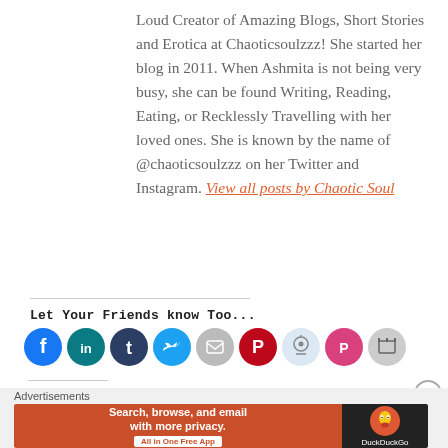Loud Creator of Amazing Blogs, Short Stories and Erotica at Chaoticsoulzzz! She started her blog in 2011. When Ashmita is not being very busy, she can be found Writing, Reading, Eating, or Recklessly Travelling with her loved ones. She is known by the name of @chaoticsoulzzz on her Twitter and Instagram. View all posts by Chaotic Soul
Let Your Friends know Too...
[Figure (other): Row of social media sharing icon buttons: Facebook (blue), LinkedIn (teal), Tumblr (dark blue), Twitter (light blue), Email (grey), Pinterest (dark red), Reddit (light blue), Pocket (pink/red), Print (grey)]
Advertisements
[Figure (other): DuckDuckGo advertisement banner: orange left section with text 'Search, browse, and email with more privacy. All in One Free App' and dark right section with DuckDuckGo logo and name]